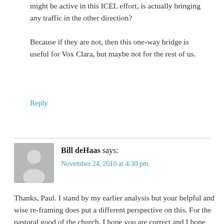might be active in this ICEL effort, is actually bringing any traffic in the other direction?

Because if they are not, then this one-way bridge is useful for Vox Clara, but maybe not for the rest of us.
Reply
Bill deHaas says:
November 24, 2010 at 4:30 pm
Thanks, Paul. I stand by my earlier analysis but your helpful and wise re-framing does put a different perspective on this. For the pastoral good of the church, I hope you are correct and I hope that Fr. Turner